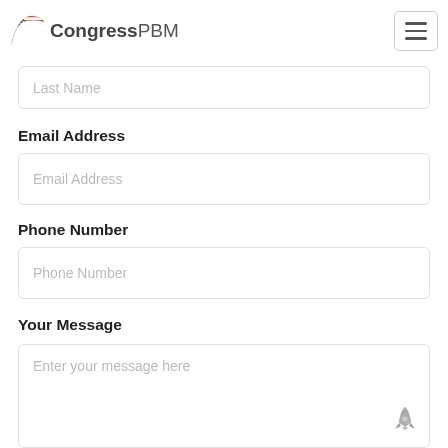CongressPBM
Last Name
Email Address
Email Address
Phone Number
Phone Number
Your Message
Enter your message here